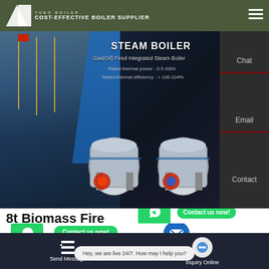COST-EFFECTIVE BOILER SUPPLIER
[Figure (screenshot): Dark banner showing two industrial steam boilers (gas/oil fired integrated steam boilers) against a building background. Text overlay: STEAM BOILER, Gas(Oil) Fired Integrated Steam Boiler, Rated thermal power: 0.5-20t/h, Rated thermal efficiency: >100-104%]
STEAM BOILER
Gas(Oil) Fired Integrated Steam Boiler
Rated thermal power : 0.5-20t/h
Rated thermal efficiency : > 100-104%
Chat
Email
Contact
8t Biomass Fired Boiler
Contact us now!
Contact us now!
Hey, we are live 24/7. How may I help you?
Send Message
Inquiry Online